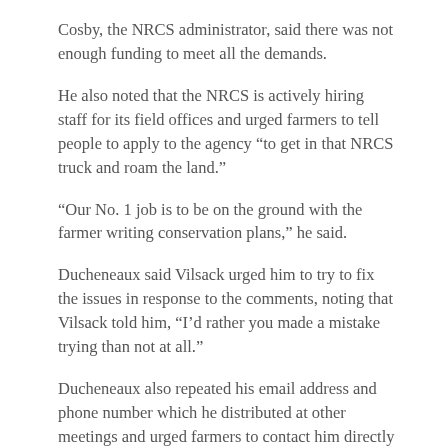Cosby, the NRCS administrator, said there was not enough funding to meet all the demands.
He also noted that the NRCS is actively hiring staff for its field offices and urged farmers to tell people to apply to the agency “to get in that NRCS truck and roam the land.”
“Our No. 1 job is to be on the ground with the farmer writing conservation plans,” he said.
Ducheneaux said Vilsack urged him to try to fix the issues in response to the comments, noting that Vilsack told him, “I’d rather you made a mistake trying than not at all.”
Ducheneaux also repeated his email address and phone number which he distributed at other meetings and urged farmers to contact him directly at zach.ducheneaux@usda.gov